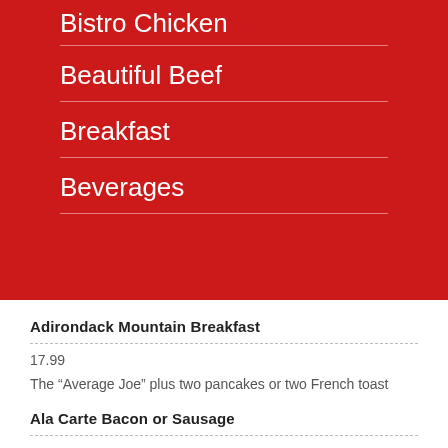Bistro Chicken
Beautiful Beef
Breakfast
Beverages
Adirondack Mountain Breakfast
17.99
The “Average Joe” plus two pancakes or two French toast
Ala Carte Bacon or Sausage